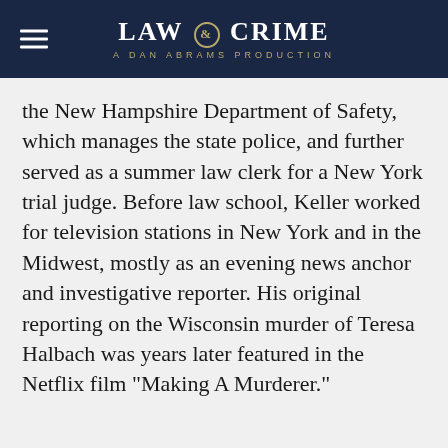LAW & CRIME — A DAN ABRAMS PRODUCTION
the New Hampshire Department of Safety, which manages the state police, and further served as a summer law clerk for a New York trial judge. Before law school, Keller worked for television stations in New York and in the Midwest, mostly as an evening news anchor and investigative reporter. His original reporting on the Wisconsin murder of Teresa Halbach was years later featured in the Netflix film "Making A Murderer."